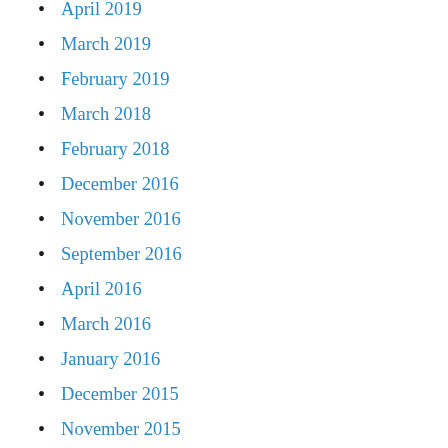April 2019
March 2019
February 2019
March 2018
February 2018
December 2016
November 2016
September 2016
April 2016
March 2016
January 2016
December 2015
November 2015
October 2015
September 2015
July 2015
June 2015